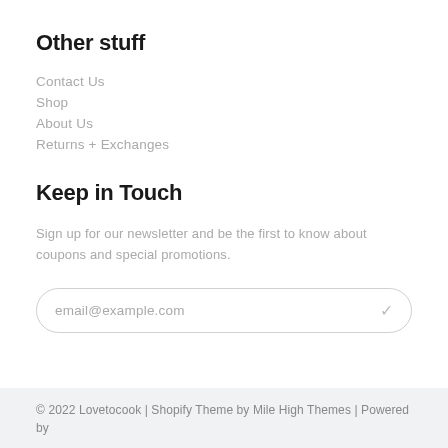Other stuff
Contact Us
Shop
About Us
Returns + Exchanges
Keep in Touch
Sign up for our newsletter and be the first to know about coupons and special promotions.
email@example.com
© 2022 Lovetocook | Shopify Theme by Mile High Themes | Powered by